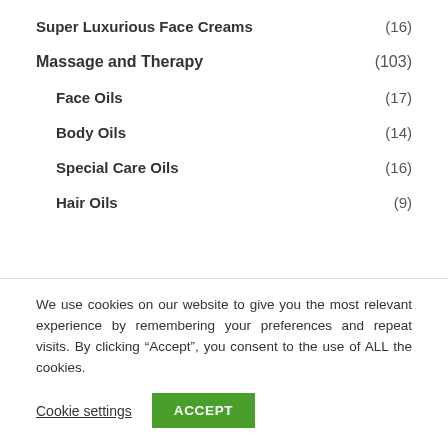Super Luxurious Face Creams (16)
Massage and Therapy (103)
Face Oils (17)
Body Oils (14)
Special Care Oils (16)
Hair Oils (9)
We use cookies on our website to give you the most relevant experience by remembering your preferences and repeat visits. By clicking “Accept”, you consent to the use of ALL the cookies.
Cookie settings ACCEPT